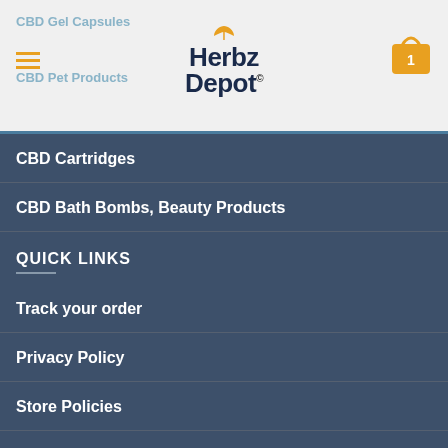Herbz Depot - CBD Gel Capsules, CBD Pet Products
CBD Cartridges
CBD Bath Bombs, Beauty Products
QUICK LINKS
Track your order
Privacy Policy
Store Policies
Terms and Conditions
Shipping and Returns
Sitemap